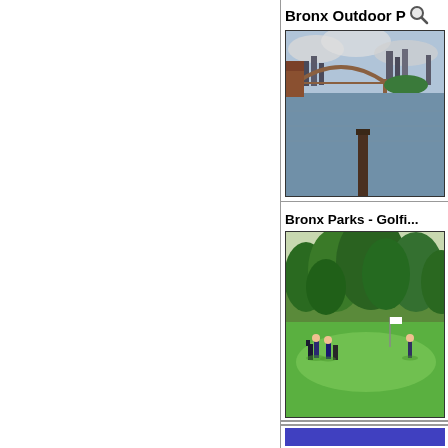Bronx Outdoor P...
[Figure (photo): Waterway scene with bridge, skyline, and wooden pier posts in foreground, cloudy sky]
Bronx Parks - Golfi...
[Figure (photo): Golf course with green grass, trees, golfers, and a white flag pin]